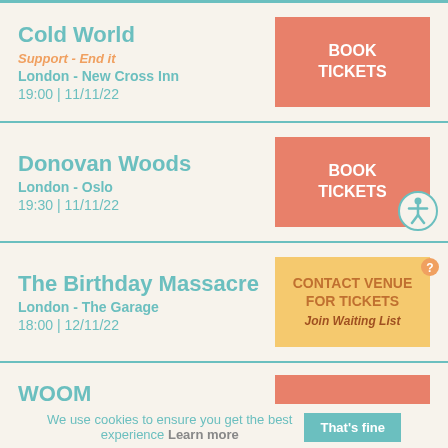Cold World
Support - End it
London - New Cross Inn
19:00 | 11/11/22
BOOK TICKETS
Donovan Woods
London - Oslo
19:30 | 11/11/22
BOOK TICKETS
The Birthday Massacre
London - The Garage
18:00 | 12/11/22
CONTACT VENUE FOR TICKETS Join Waiting List
WOOM
We use cookies to ensure you get the best experience Learn more
That's fine